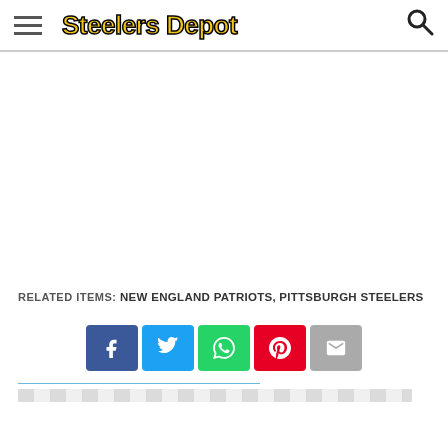Steelers Depot
[Figure (other): White advertisement/content space]
RELATED ITEMS: NEW ENGLAND PATRIOTS, PITTSBURGH STEELERS
[Figure (infographic): Social share buttons: Facebook, Twitter, WhatsApp, Pinterest, Email]